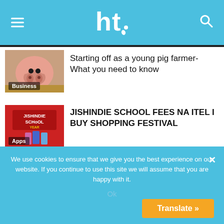ht (logo) — hamburger menu and search icon
[Figure (photo): Close-up photo of a pig's face with a Business category label overlay]
Starting off as a young pig farmer- What you need to know
[Figure (photo): Red advertisement image for Jishindie School fees na Itel I Buy Shopping Festival with Apps label overlay]
JISHINDIE SCHOOL FEES NA ITEL I BUY SHOPPING FESTIVAL
[Figure (photo): Red advertisement image showing Itel A37 phone with person wearing headphones]
Itel announces Diamond Platnumz as brand ambassador
We use cookies to ensure that we give you the best experience on our website. If you continue to use this site we will assume that you are happy with it.
Ok
Translate »